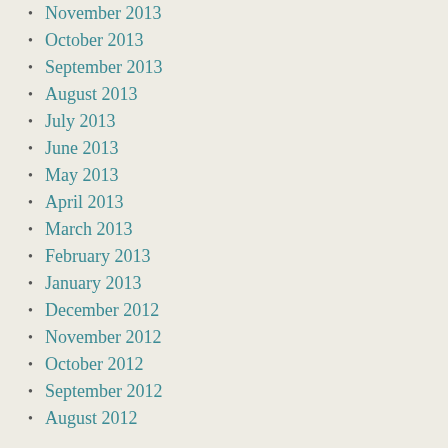November 2013
October 2013
September 2013
August 2013
July 2013
June 2013
May 2013
April 2013
March 2013
February 2013
January 2013
December 2012
November 2012
October 2012
September 2012
August 2012
Categories
architecture
art